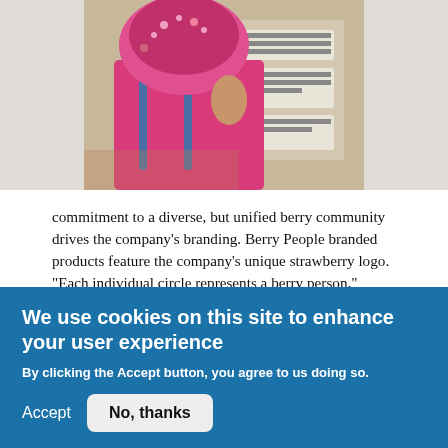[Figure (photo): A person wearing a pink/red top and colorful headscarf, photographed from behind/side, standing near shelves or a display with posted signs]
commitment to a diverse, but unified berry community drives the company’s branding. Berry People branded products feature the company’s unique strawberry logo. “Each individual circle represents a berry person,” explained Downs, “all coming together with different roles and levels of responsibilities around a common goal, the calyx representing the stewardship that ownership and management has for this community, and the stem
We use cookies on this site to enhance your user experience
By clicking the Accept button, you agree to us doing so.
Accept
No, thanks